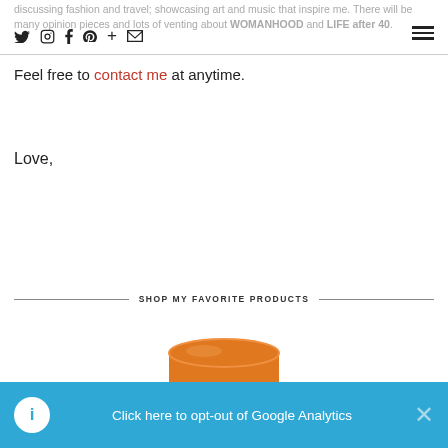discussing fashion and travel; showcasing art and music that inspire me. There will be many opinion pieces and lots of venting about WOMANHOOD and LIFE after 40.
Feel free to contact me at anytime.
Love,
SHOP MY FAVORITE PRODUCTS
[Figure (photo): Orange cylindrical product container, partially visible at bottom of page]
Click here to opt-out of Google Analytics